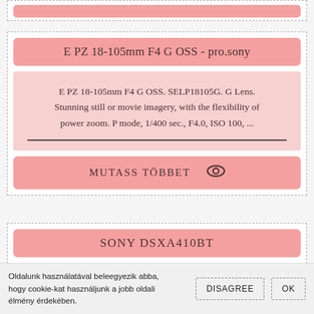E PZ 18-105mm F4 G OSS - pro.sony
E PZ 18-105mm F4 G OSS. SELP18105G. G Lens. Stunning still or movie imagery, with the flexibility of power zoom. P mode, 1/400 sec., F4.0, ISO 100, ...
MUTASS TÖBBET
SONY DSXA410BT
Oldalunk használatával beleegyezik abba, hogy cookie-kat használjunk a jobb oldali élmény érdekében.